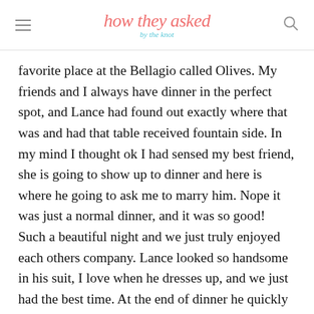how they asked by the knot
favorite place at the Bellagio called Olives. My friends and I always have dinner in the perfect spot, and Lance had found out exactly where that was and had that table received fountain side. In my mind I thought ok I had sensed my best friend, she is going to show up to dinner and here is where he going to ask me to marry him. Nope it was just a normal dinner, and it was so good! Such a beautiful night and we just truly enjoyed each others company. Lance looked so handsome in his suit, I love when he dresses up, and we just had the best time. At the end of dinner he quickly drank 2 glasses of wine and seemed a little antsy now that I think